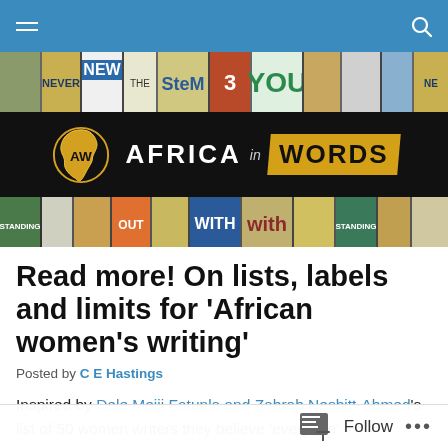Navigation bar with hamburger menu and search icon
[Figure (illustration): Collage of book covers forming a banner strip at the top]
[Figure (logo): Africa in Words logo: gold Africa continent icon with AW, text AFRICA in WORDS on black background]
[Figure (illustration): Collage of book covers forming a banner strip at the bottom]
Read more! On lists, labels and limits for ‘African women’s writing’
Posted by C E Hastings
Inspired by Dele Meiji Fatunla and Zahrah Nesbitt-Ahmed’s list of 50 women writers they believe ‘everyone’
Follow ...